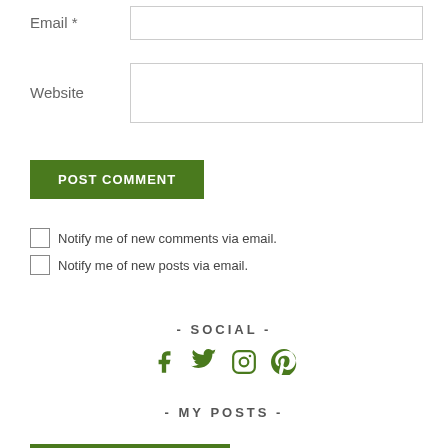Email *
Website
POST COMMENT
Notify me of new comments via email.
Notify me of new posts via email.
- SOCIAL -
[Figure (infographic): Four social media icons (Facebook, Twitter, Instagram, Pinterest) in green]
- MY POSTS -